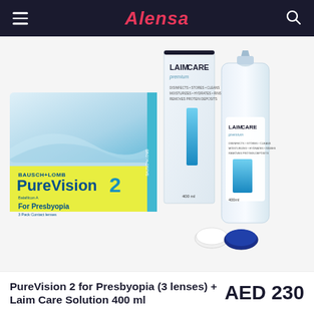Alensa
[Figure (photo): Product photo showing Bausch+Lomb PureVision 2 for Presbyopia contact lens box (3 lenses), Laim Care Premium solution box (400ml), Laim Care Premium solution bottle (400ml), and a contact lens case.]
PureVision 2 for Presbyopia (3 lenses) + Laim Care Solution 400 ml
AED 230